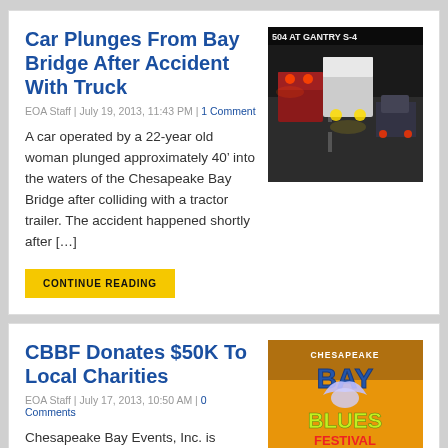Car Plunges From Bay Bridge After Accident With Truck
EOA Staff | July 19, 2013, 11:43 PM | 1 Comment
A car operated by a 22-year old woman plunged approximately 40’ into the waters of the Chesapeake Bay Bridge after colliding with a tractor trailer. The accident happened shortly after […]
[Figure (photo): Traffic camera image of highway showing trucks and cars with lights at night, labeled 504 AT GANTRY S-4]
CBBF Donates $50K To Local Charities
EOA Staff | July 17, 2013, 10:50 AM | 0 Comments
Chesapeake Bay Events, Inc. is pleased to announce that the Chesapeake Bay Blues Festival...
[Figure (photo): Chesapeake Bay Blues Festival poster with bird and colorful text on orange background, May dates visible]